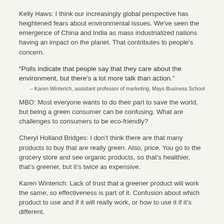Kelly Haws: I think our increasingly global perspective has heightened fears about environmental issues. We've seen the emergence of China and India as mass industrialized nations having an impact on the planet. That contributes to people's concern.
“Polls indicate that people say that they care about the environment, but there’s a lot more talk than action.” – Karen Winterich, assistant professor of marketing, Mays Business School
MBO: Most everyone wants to do their part to save the world, but being a green consumer can be confusing. What are challenges to consumers to be eco-friendly?
Cheryl Holland Bridges: I don’t think there are that many products to buy that are really green. Also, price. You go to the grocery store and see organic products, so that’s healthier, that’s greener, but it’s twice as expensive.
Karen Winterich: Lack of trust that a greener product will work the same, so effectiveness is part of it. Confusion about which product to use and if it will really work, or how to use it if it’s different.